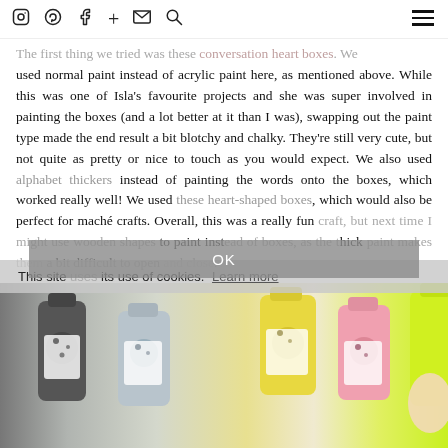Instagram Pinterest Facebook + Email Search [hamburger menu]
The first thing we tried was these conversation heart boxes. We used normal paint instead of acrylic paint here, as mentioned above. While this was one of Isla's favourite projects and she was super involved in painting the boxes (and a lot better at it than I was), swapping out the paint type made the end result a bit blotchy and chalky. They're still very cute, but not quite as pretty or nice to touch as you would expect. We also used alphabet thickers instead of painting the words onto the boxes, which worked really well! We used these heart-shaped boxes, which would also be perfect for maché crafts. Overall, this was a really fun craft, but next time I might use wooden shapes to paint instead of boxes, as the thick paint makes them a bit difficult to open and close.
This site uses its use of cookies. Learn more
OK
[Figure (photo): Photo of multiple acrylic paint bottles in various colors including gray, light blue, yellow, pink, green, and neon yellow, arranged on a surface with a hand visible on the right side.]